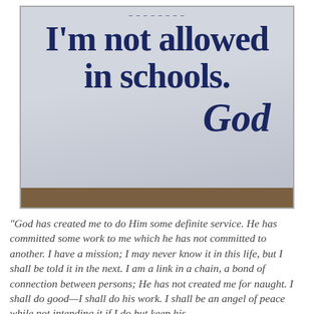[Figure (photo): Photo of a sign on a stone or concrete surface reading: 'I'm not allowed in schools.' signed 'God' in cursive script. The background of the sign is light gray/blue-gray.]
"God has created me to do Him some definite service. He has committed some work to me which he has not committed to another. I have a mission; I may never know it in this life, but I shall be told it in the next. I am a link in a chain, a bond of connection between persons; He has not created me for naught. I shall do good—I shall do his work. I shall be an angel of peace while not intending it if I do but keep his